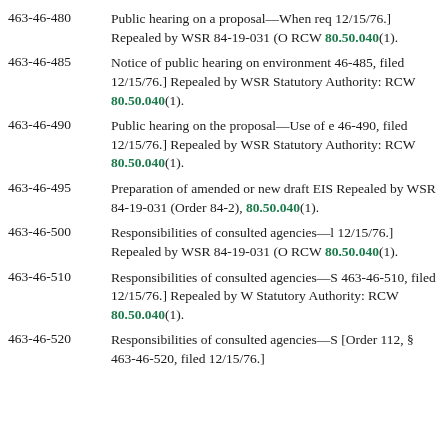463-46-480 Public hearing on a proposal—When req 12/15/76.] Repealed by WSR 84-19-031 (O RCW 80.50.040(1).
463-46-485 Notice of public hearing on environment 46-485, filed 12/15/76.] Repealed by WSR Statutory Authority: RCW 80.50.040(1).
463-46-490 Public hearing on the proposal—Use of e 46-490, filed 12/15/76.] Repealed by WSR Statutory Authority: RCW 80.50.040(1).
463-46-495 Preparation of amended or new draft EIS Repealed by WSR 84-19-031 (Order 84-2), 80.50.040(1).
463-46-500 Responsibilities of consulted agencies—l 12/15/76.] Repealed by WSR 84-19-031 (O RCW 80.50.040(1).
463-46-510 Responsibilities of consulted agencies—S 463-46-510, filed 12/15/76.] Repealed by W Statutory Authority: RCW 80.50.040(1).
463-46-520 Responsibilities of consulted agencies—S [Order 112, § 463-46-520, filed 12/15/76.]